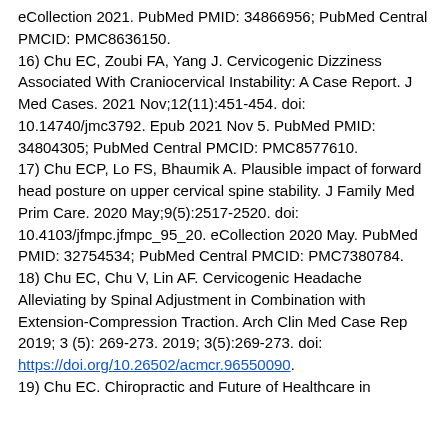eCollection 2021. PubMed PMID: 34866956; PubMed Central PMCID: PMC8636150.
16) Chu EC, Zoubi FA, Yang J. Cervicogenic Dizziness Associated With Craniocervical Instability: A Case Report. J Med Cases. 2021 Nov;12(11):451-454. doi: 10.14740/jmc3792. Epub 2021 Nov 5. PubMed PMID: 34804305; PubMed Central PMCID: PMC8577610.
17) Chu ECP, Lo FS, Bhaumik A. Plausible impact of forward head posture on upper cervical spine stability. J Family Med Prim Care. 2020 May;9(5):2517-2520. doi: 10.4103/jfmpc.jfmpc_95_20. eCollection 2020 May. PubMed PMID: 32754534; PubMed Central PMCID: PMC7380784.
18) Chu EC, Chu V, Lin AF. Cervicogenic Headache Alleviating by Spinal Adjustment in Combination with Extension-Compression Traction. Arch Clin Med Case Rep 2019; 3 (5): 269-273. 2019; 3(5):269-273. doi: https://doi.org/10.26502/acmcr.96550090.
19) Chu EC. Chiropractic and Future of Healthcare in